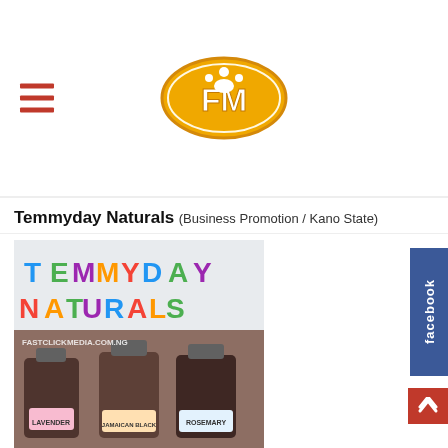FastClickMedia FM logo with hamburger menu
Temmyday Naturals (Business Promotion / Kano State)
[Figure (photo): Photo of three bottles of Temmyday Naturals hair oil products (Lavender, and two others) with colorful TEMMYDAY NATURALS signage in the background. Watermark reads FASTCLICKMEDIA.COM.NG]
Temmyday Naturals also called Temmyday Natura... Hair Store sells different brands of genuine natura...
Phinas Guest Inn (Business Promotion / Kano State)